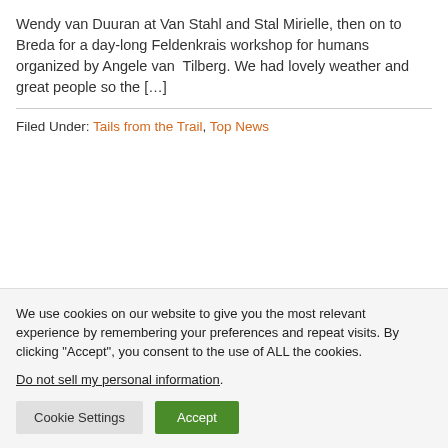Wendy van Duuran at Van Stahl and Stal Mirielle, then on to Breda for a day-long Feldenkrais workshop for humans organized by Angele van Tilberg. We had lovely weather and great people so the […]
Filed Under: Tails from the Trail, Top News
We use cookies on our website to give you the most relevant experience by remembering your preferences and repeat visits. By clicking "Accept", you consent to the use of ALL the cookies.
Do not sell my personal information.